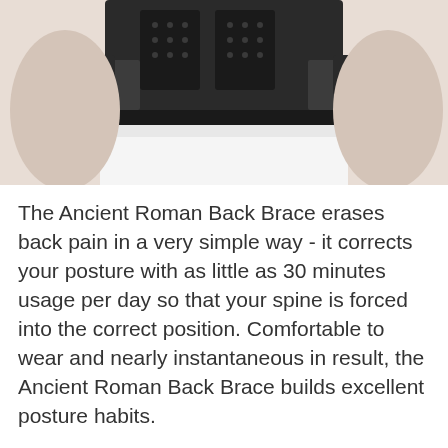[Figure (photo): Close-up photo of a person wearing a black mesh back brace/support garment around their torso, with white shorts visible below.]
The Ancient Roman Back Brace erases back pain in a very simple way - it corrects your posture with as little as 30 minutes usage per day so that your spine is forced into the correct position. Comfortable to wear and nearly instantaneous in result, the Ancient Roman Back Brace builds excellent posture habits.
How exactly does it fix poor posture? It's a corset-like garment that holds your back in a fixed upright position, making it nearly impossible to slouch. It promotes good posture by pulling